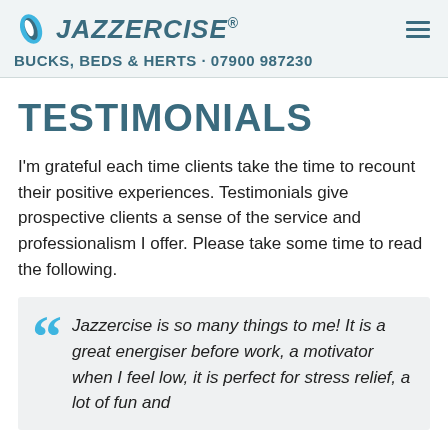JAZZERCISE. BUCKS, BEDS & HERTS · 07900 987230
TESTIMONIALS
I'm grateful each time clients take the time to recount their positive experiences. Testimonials give prospective clients a sense of the service and professionalism I offer. Please take some time to read the following.
Jazzercise is so many things to me! It is a great energiser before work, a motivator when I feel low, it is perfect for stress relief, a lot of fun and